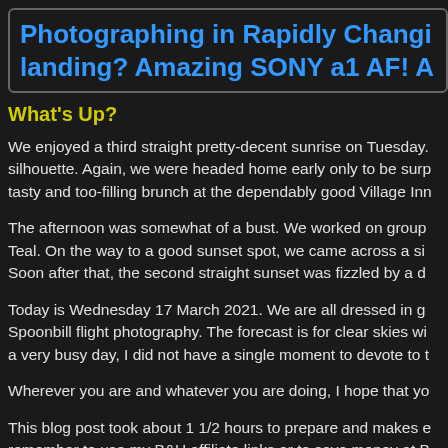Photographing in Rapidly Changing landing? Amazing SONY a1 AF! A
What's Up?
We enjoyed a third straight pretty-decent sunrise on Tuesday. silhouette. Again, we were headed home early only to be surp tasty and too-filling brunch at the dependably good Village Inn
The afternoon was somewhat of a bust. We worked on group Teal. On the way to a good sunset spot, we came across a si Soon after that, the second straight sunset was fizzled by a d
Today is Wednesday 17 March 2021. We are all dressed in g Spoonbill flight photography. The forecast is for clear skies wi a very busy day, I did not have a single moment to devote to t
Wherever you are and whatever you are doing, I hope that yo
This blog post took about 1 1/2 hours to prepare and makes e remember to use my B&H affiliate links or to save money at B checkout.